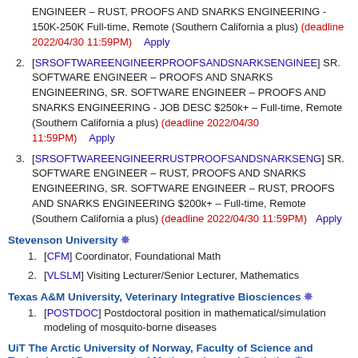ENGINEER – RUST, PROOFS AND SNARKS ENGINEERING - 150K-250K Full-time, Remote (Southern California a plus) (deadline 2022/04/30 11:59PM)   Apply
2. [SRSOFTWAREENGINEERPROOFSANDSNARKSENGINEE] SR. SOFTWARE ENGINEER – PROOFS AND SNARKS ENGINEERING, SR. SOFTWARE ENGINEER – PROOFS AND SNARKS ENGINEERING - JOB DESC $250k+ – Full-time, Remote (Southern California a plus) (deadline 2022/04/30 11:59PM)   Apply
3. [SRSOFTWAREENGINEERRUSTPROOFSANDSNARKSENG] SR. SOFTWARE ENGINEER – RUST, PROOFS AND SNARKS ENGINEERING, SR. SOFTWARE ENGINEER – RUST, PROOFS AND SNARKS ENGINEERING $200k+ – Full-time, Remote (Southern California a plus) (deadline 2022/04/30 11:59PM)   Apply
Stevenson University *
1. [CFM] Coordinator, Foundational Math
2. [VLSLM] Visiting Lecturer/Senior Lecturer, Mathematics
Texas A&M University, Veterinary Integrative Biosciences *
1. [POSTDOC] Postdoctoral position in mathematical/simulation modeling of mosquito-borne diseases
UiT The Arctic University of Norway, Faculty of Science and Technology / Department of Mathematics and Statistics *
1. [PRF1] Differential Geometry, Postdoctoral Research Fellow in